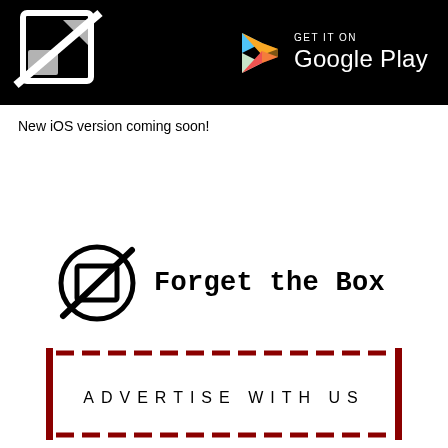[Figure (screenshot): Black banner with app icon on left and Google Play store badge on right showing 'GET IT ON Google Play']
New iOS version coming soon!
[Figure (logo): Forget the Box logo: circular strikethrough icon followed by text 'Forget the Box' in bold serif/monospace font]
[Figure (infographic): Dark red dashed border box with text 'ADVERTISE WITH US' centered inside]